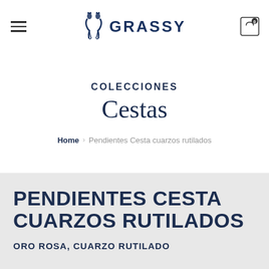GRASSY
COLECCIONES
Cestas
Home > Pendientes Cesta cuarzos rutilados
PENDIENTES CESTA CUARZOS RUTILADOS
ORO ROSA, CUARZO RUTILADO